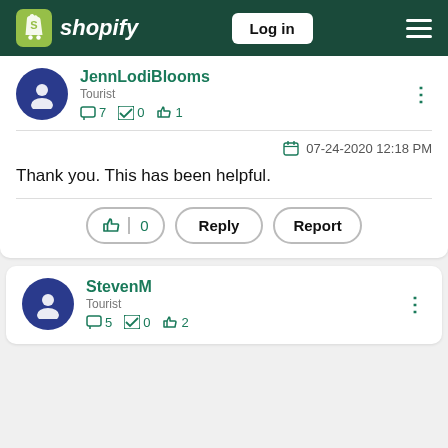Shopify — Log in navigation bar
JennLodiBlooms
Tourist
7 posts  0 solutions  1 kudos
07-24-2020 12:18 PM
Thank you. This has been helpful.
Like 0  Reply  Report
StevenM
Tourist
5 posts  0 solutions  2 kudos